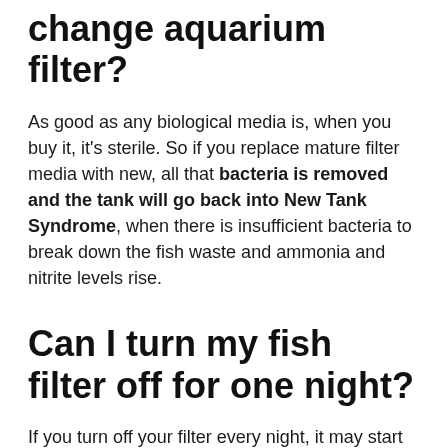change aquarium filter?
As good as any biological media is, when you buy it, it's sterile. So if you replace mature filter media with new, all that bacteria is removed and the tank will go back into New Tank Syndrome, when there is insufficient bacteria to break down the fish waste and ammonia and nitrite levels rise.
Can I turn my fish filter off for one night?
If you turn off your filter every night, it may start affecting the quality of your water. So you shouldn't turn off the aquarium filter at night. ... This is why turning the